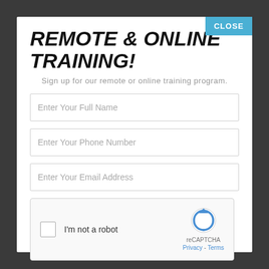REMOTE & ONLINE TRAINING!
Sign up for our remote or online training program.
Enter Your Full Name
Enter Your Phone Number
Enter Your Email Address
[Figure (other): reCAPTCHA widget with checkbox labeled I'm not a robot, reCAPTCHA logo, Privacy and Terms links]
Submit